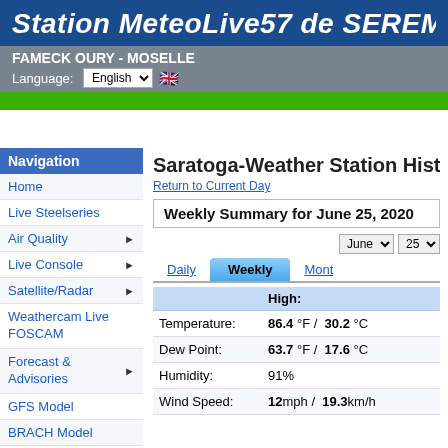Station MeteoLive57 de SEREMAN
FAMECK OURY - MOSELLE
Language: English
Navigation
Home
Live Steelseries
Air Quality
Live Console
Satellite/Radar
Weathercam Live FOSCAM
Forecast & Advisories
GFS Model
BRACH Model
ECMWF Model
Almanac
Saratoga-Weather Station Historical
Return to Current Day
Weekly Summary for June 25, 2020
|  | High: |
| --- | --- |
| Temperature: | 86.4 °F /  30.2 °C |
| Dew Point: | 63.7 °F /  17.6 °C |
| Humidity: | 91% |
| Wind Speed: | 12mph /  19.3km/h |